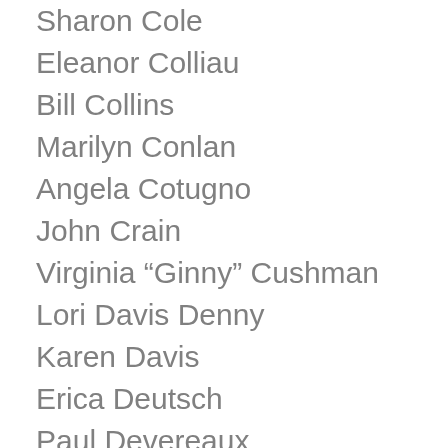Sharon Cole
Eleanor Colliau
Bill Collins
Marilyn Conlan
Angela Cotugno
John Crain
Virginia “Ginny” Cushman
Lori Davis Denny
Karen Davis
Erica Deutsch
Paul Devereaux